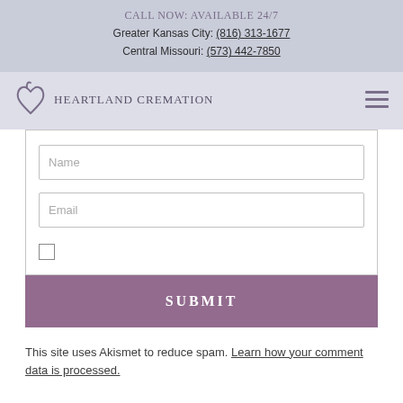Call Now: Available 24/7
Greater Kansas City: (816) 313-1677
Central Missouri: (573) 442-7850
[Figure (logo): Heartland Cremation logo with heart icon and company name]
[Figure (screenshot): Web form with Name and Email input fields, a checkbox, and a Submit button]
This site uses Akismet to reduce spam. Learn how your comment data is processed.